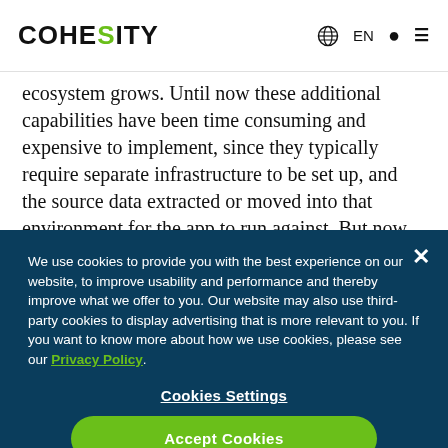COHESITY | EN
ecosystem grows. Until now these additional capabilities have been time consuming and expensive to implement, since they typically require separate infrastructure to be set up, and the source data extracted or moved into that environment for the app to run against. But now with the Cohesity platform, the process is as simple as downloading
We use cookies to provide you with the best experience on our website, to improve usability and performance and thereby improve what we offer to you. Our website may also use third-party cookies to display advertising that is more relevant to you. If you want to know more about how we use cookies, please see our Privacy Policy.
Cookies Settings
Accept Cookies